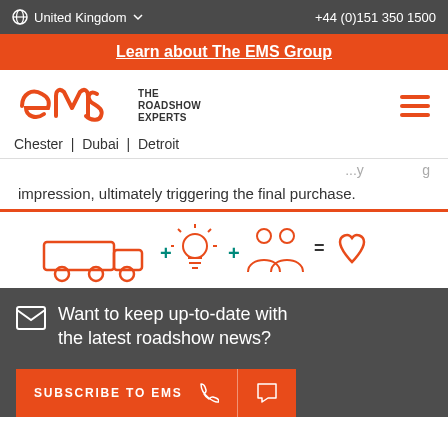United Kingdom  +44 (0)151 350 1500
Learn about The EMS Group
[Figure (logo): EMS The Roadshow Experts logo with text: Chester | Dubai | Detroit]
impression, ultimately triggering the final purchase.
[Figure (illustration): Orange line icons: truck + lightbulb + two people = heart]
Want to keep up-to-date with the latest roadshow news?
SUBSCRIBE TO EMS